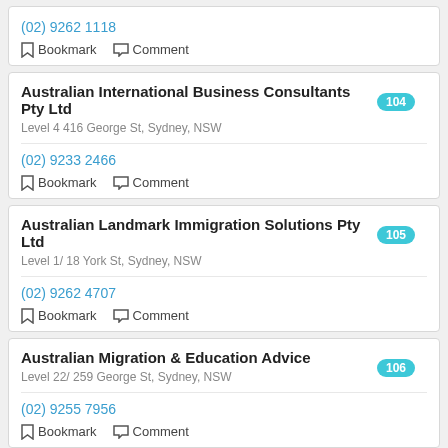(02) 9262 1118
Bookmark  Comment
Australian International Business Consultants Pty Ltd
104
Level 4 416 George St, Sydney, NSW
(02) 9233 2466
Bookmark  Comment
Australian Landmark Immigration Solutions Pty Ltd
105
Level 1/ 18 York St, Sydney, NSW
(02) 9262 4707
Bookmark  Comment
Australian Migration & Education Advice
106
Level 22/ 259 George St, Sydney, NSW
(02) 9255 7956
Bookmark  Comment